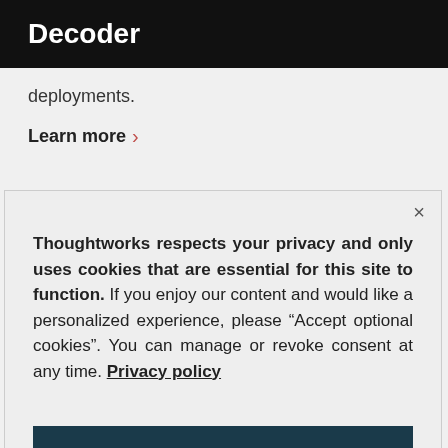Decoder
deployments.
Learn more >
Thoughtworks respects your privacy and only uses cookies that are essential for this site to function. If you enjoy our content and would like a personalized experience, please “Accept optional cookies”. You can manage or revoke consent at any time. Privacy policy
Accept optional cookies
Manage preferences